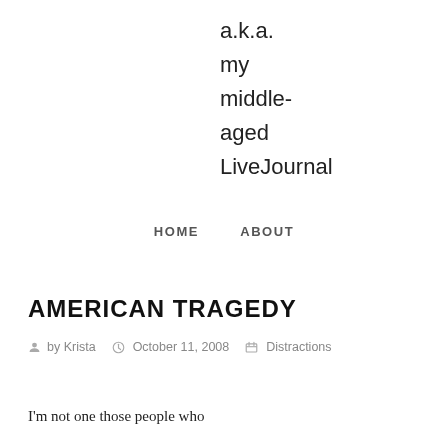a.k.a.
my
middle-
aged
LiveJournal
HOME   ABOUT
AMERICAN TRAGEDY
by Krista   October 11, 2008   Distractions
I'm not one those people who